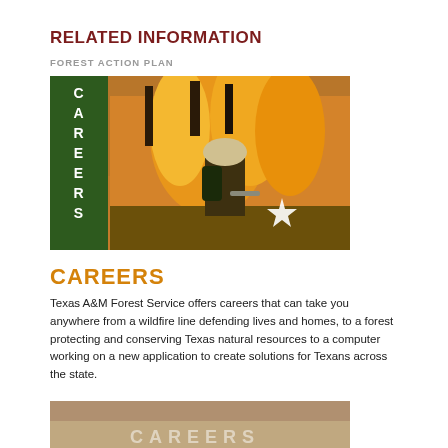RELATED INFORMATION
FOREST ACTION PLAN
[Figure (photo): Firefighter in gear with Texas A&M Forest Service logo patch, facing a large wildfire. Green banner on the left side reads 'CAREERS' vertically in white letters.]
CAREERS
Texas A&M Forest Service offers careers that can take you anywhere from a wildfire line defending lives and homes, to a forest protecting and conserving Texas natural resources to a computer working on a new application to create solutions for Texans across the state.
[Figure (photo): Partial bottom image showing another careers-related photo, partially cropped at the bottom of the page.]